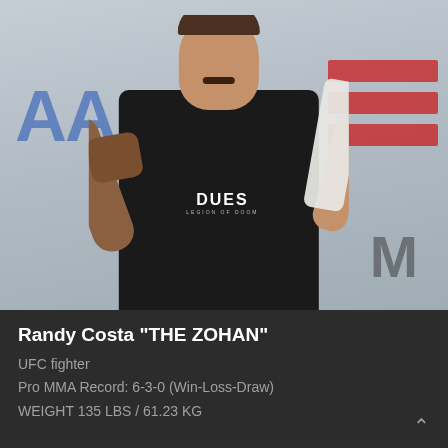[Figure (photo): UFC fighter Randy Costa posing with raised tattooed fist, wearing a black 'DUES Legion of Doom' t-shirt, holding a white Under Armour towel over his shoulder, standing in front of a gym wall with blue and red logos]
Randy Costa "THE ZOHAN"
UFC fighter
Pro MMA Record: 6-3-0 (Win-Loss-Draw)
WEIGHT 135 LBS / 61.23 KG